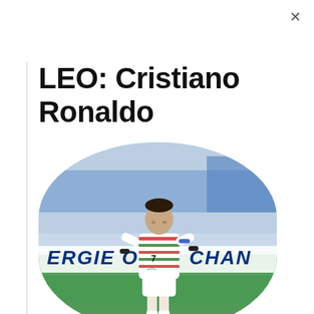×
LEO: Cristiano Ronaldo
[Figure (photo): Cristiano Ronaldo in Portugal white kit with number 7, dribbling on a football pitch. Advertising boards visible in background reading 'ERGIE O' and 'CHAN'. Photo displayed in a rounded/oval crop.]